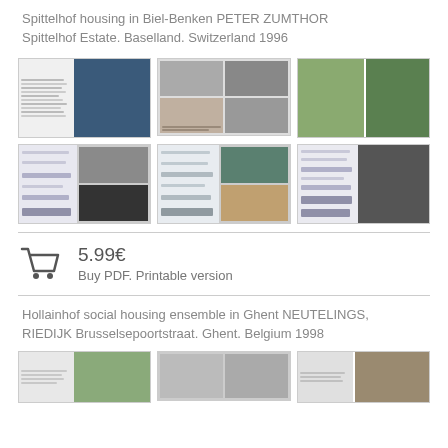Spittelhof housing in Biel-Benken PETER ZUMTHOR Spittelhof Estate. Baselland. Switzerland 1996
[Figure (photo): Grid of 6 thumbnail images showing architectural document pages of Spittelhof housing project - plans, elevations, and photographs]
[Figure (illustration): Shopping cart icon]
5.99€
Buy PDF. Printable version
Hollainhof social housing ensemble in Ghent NEUTELINGS, RIEDIJK Brusselsepoortstraat. Ghent. Belgium 1998
[Figure (photo): Partial grid of thumbnail images showing architectural pages of Hollainhof housing project]